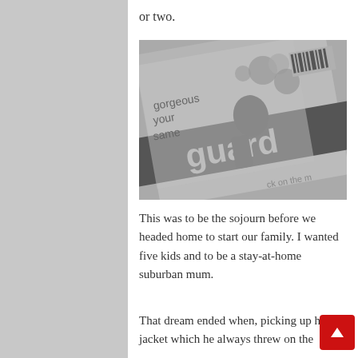or two.
[Figure (photo): A grayscale photo of a newspaper (The Guardian) laid at an angle, showing a child's silhouette profile, decorative flower/coronavirus-like circular shapes, a barcode, and partial text reading 'gorgeous', 'your', 'same', 'guard', 'ck on the m'.]
This was to be the sojourn before we headed home to start our family. I wanted five kids and to be a stay-at-home suburban mum.
That dream ended when, picking up his jacket which he always threw on the